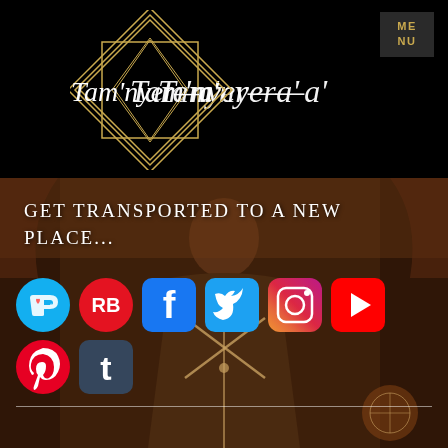[Figure (logo): Tam'nyer-a' logo with geometric diamond/star shape in gold outline on black background, with stylized script text]
ME
NU
GET TRANSPORTED TO A NEW PLACE...
[Figure (illustration): Background illustration of a fantasy character in robes with crossed arms, warm brown tones]
[Figure (infographic): Social media icons: Ko-fi (blue circle with heart/cup), Redbubble (red circle RB), Facebook (blue rounded square f), Twitter (blue rounded square bird), Instagram (purple/orange rounded square camera), YouTube (red rounded square play), Pinterest (red circle P), Tumblr (blue rounded square t)]